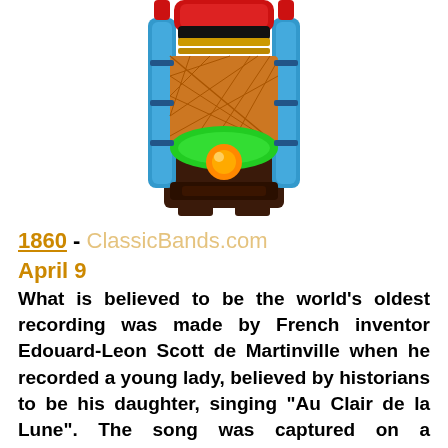[Figure (illustration): Colorful vintage jukebox illustration with red top, blue side columns, green and orange body with diamond-pattern speaker grille, and glowing orange orb at the bottom center.]
1860 - ClassicBands.com
April 9
What is believed to be the world's oldest recording was made by French inventor Edouard-Leon Scott de Martinville when he recorded a young lady, believed by historians to be his daughter, singing "Au Clair de la Lune". The song was captured on a "phonautograph", a device that engraved sound waves onto a sheet of paper